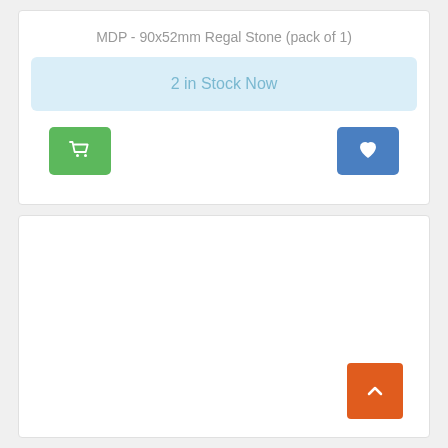MDP - 90x52mm Regal Stone (pack of 1)
2 in Stock Now
[Figure (screenshot): Green shopping cart button and blue heart/wishlist button]
[Figure (screenshot): Empty white card panel with orange scroll-to-top arrow button in bottom right corner]